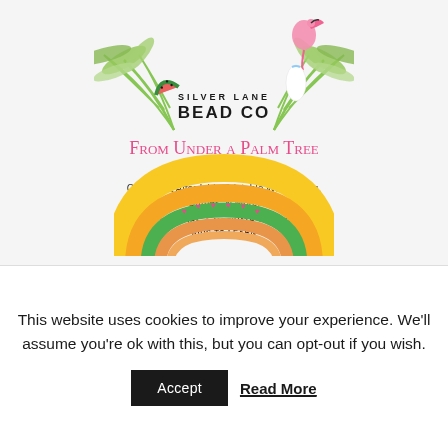[Figure (illustration): Tropical wreath/logo illustration with palm leaves, watermelon slice, flamingo, and striped ornament surrounding 'SILVER LANE BEAD CO' text]
From Under a Palm Tree
Printables Shop
Creative & Affordable Printable Worksheets, Games, & More!
TEACH • INSPIRE • MOTIVATE • ENCOURAGE
KIDS TO LEARN
[Figure (illustration): Colorful rainbow illustration with yellow, green, orange bands and pink heart decorations]
This website uses cookies to improve your experience. We'll assume you're ok with this, but you can opt-out if you wish.
Accept   Read More